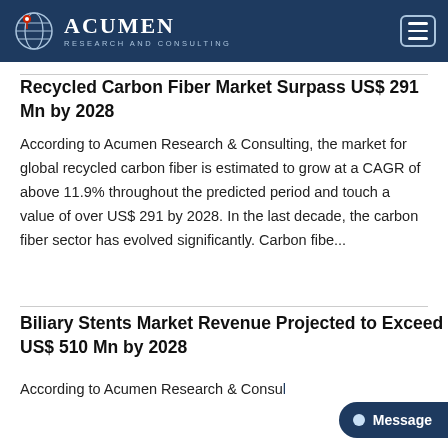Acumen Research and Consulting
Recycled Carbon Fiber Market Surpass US$ 291 Mn by 2028
According to Acumen Research & Consulting, the market for global recycled carbon fiber is estimated to grow at a CAGR of above 11.9% throughout the predicted period and touch a value of over US$ 291 by 2028. In the last decade, the carbon fiber sector has evolved significantly. Carbon fibe...
Biliary Stents Market Revenue Projected to Exceed US$ 510 Mn by 2028
According to Acumen Research & Consulting, the global biliary stents market is estimated to...